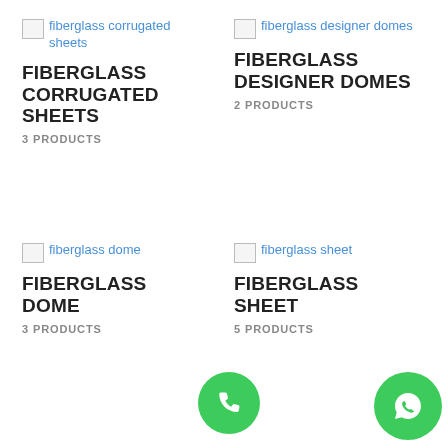[Figure (other): Broken image placeholder for fiberglass corrugated sheets]
FIBERGLASS CORRUGATED SHEETS
3 PRODUCTS
[Figure (other): Broken image placeholder for fiberglass designer domes]
FIBERGLASS DESIGNER DOMES
2 PRODUCTS
[Figure (other): Broken image placeholder for fiberglass dome]
FIBERGLASS DOME
3 PRODUCTS
[Figure (other): Broken image placeholder for fiberglass sheet]
FIBERGLASS SHEET
5 PRODUCTS
[Figure (other): Green phone call button (circular)]
[Figure (other): Green WhatsApp button (circular)]